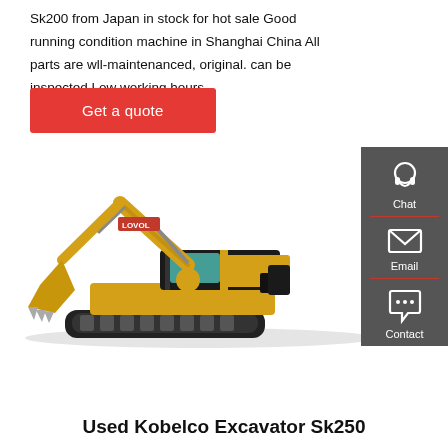Sk200 from Japan in stock for hot sale Good running condition machine in Shanghai China All parts are wll-maintenanced, original. can be inspected Low working hours,
Get a quote
[Figure (photo): A yellow Lovol brand excavator/crawler shovel with extended arm and bucket, positioned on gravel ground. The machine is large and heavy-duty with tracked undercarriage.]
Used Kobelco Excavator Sk250